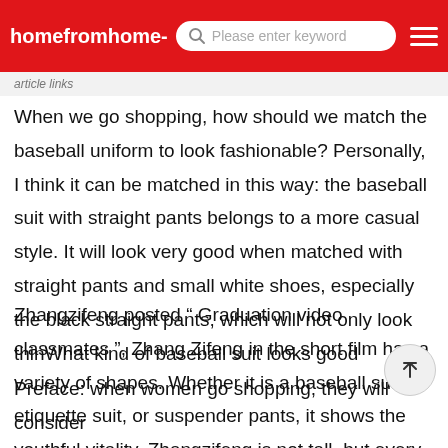homefromhome-  Please enter keyword
When we go shopping, how should we match the baseball uniform to look fashionable? Personally, I think it can be matched in this way: the baseball suit with straight pants belongs to a more casual style. It will look very good when matched with straight pants and small white shoes, especially the black straight pants, which will not only look thinWhat kind of baseball suit looks good
Zhangzifeng posted “ Graduation video classmates ”, Zhang Zifeng in the short film has a variety of shapes. Whether it is a baseball suit, etiquette suit, or suspender pants, it shows the youthful vitality. Zhangzifeng is not tall, but every time she wears it, she looks very harmonious and has her own styleWhen you go shopping, how do you match your baseball uniform to look fashionable
Preface: when women go shopping, they will consider